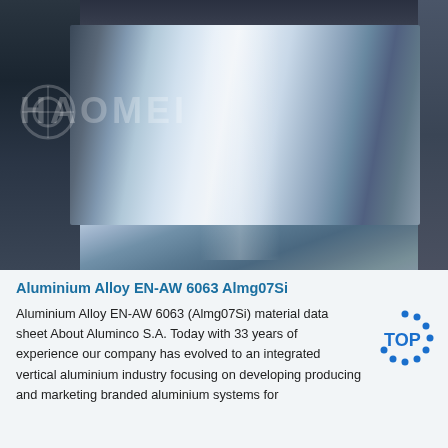[Figure (photo): Industrial photo of aluminium sheet metal being processed on a machine, with metallic surface showing reflective finish. Watermark overlay reads HAOMEI with a circular logo.]
Aluminium Alloy EN-AW 6063 Almg07Si
Aluminium Alloy EN-AW 6063 (Almg07Si) material data sheet About Aluminco S.A. Today with 33 years of experience our company has evolved to an integrated vertical aluminium industry focusing on developing producing and marketing branded aluminium systems for